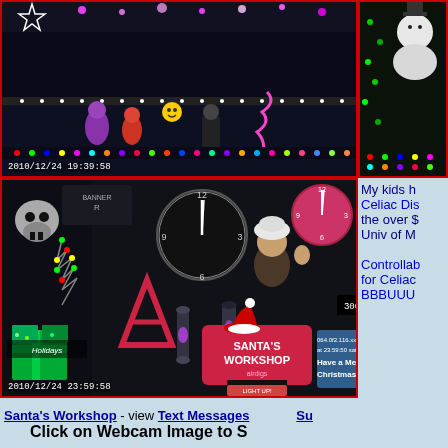[Figure (photo): Top-left webcam image showing Christmas light display with animated characters (Barney, etc.) and colorful lights at night. Timestamp: 2010/12/24 19:39:58]
[Figure (photo): Top-right webcam image showing a snowman decoration with colorful Christmas lights]
[Figure (photo): Bottom-left webcam image showing Santa's Workshop display with a man waving, clocks, skeleton decoration, lava lamps, green gift boxes, Santa's Workshop sign, and a chat message overlay saying 'Have a Merry Christmas, Alek!' Timestamp: 2010/12/24 23:59:58]
My kids h Celiac Dis the over $ Univ of M Controllab for Celiac BBBUUU
Santa's Workshop - view Text Messages Su
Click on Webcam Image to S